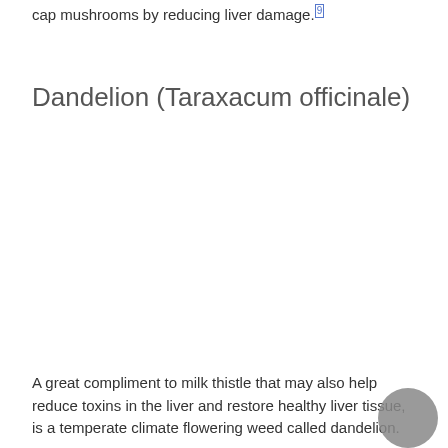cap mushrooms by reducing liver damage.[9]
Dandelion (Taraxacum officinale)
A great compliment to milk thistle that may also help reduce toxins in the liver and restore healthy liver tissue, is a temperate climate flowering weed called dandelion.